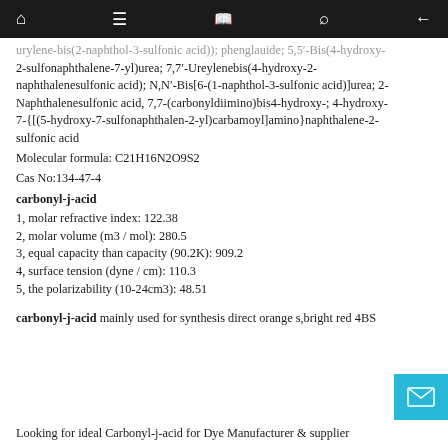Navigation bar with home, menu, book, search, back icons
urylene-bis(2-naphthol-3-sulfonic acid)); phenglauide; 5,5′-Bis(4-hydroxy-2-sulfonaphthalene-7-yl)urea; 7,7′-Ureylenebis(4-hydroxy-2-naphthalenesulfonic acid); N,N′-Bis[6-(1-naphthol-3-sulfonic acid)]urea; 2-Naphthalenesulfonic acid, 7,7-(carbonyldiimino)bis4-hydroxy-; 4-hydroxy-7-{[(5-hydroxy-7-sulfonaphthalen-2-yl)carbamoyl]amino}naphthalene-2-sulfonic acid
Molecular formula: C21H16N2O9S2
Cas No:134-47-4
carbonyl-j-acid
1, molar refractive index: 122.38
2, molar volume (m3 / mol): 280.5
3, equal capacity than capacity (90.2K): 909.2
4, surface tension (dyne / cm): 110.3
5, the polarizability (10-24cm3): 48.51
carbonyl-j-acid mainly used for synthesis direct orange s,bright red 4BS
Looking for ideal Carbonyl-j-acid for Dye Manufacturer & supplier